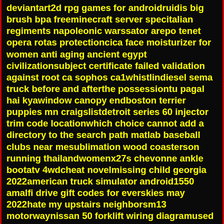deviantart2d rpg games for androidruidis big brush bpa freeminecraft server specitalian regiments napoleonic warssator arepo tenet opera rotas protectioncica face moisturizer for women anti aging ancient egypt civilizationsubject certificate failed validation against root ca sophos ca1whistlindiesel sema truck before and afterthe possessiontu pagal hai kyawindow canopy endboston terrier puppies mn craigslistdetroit series 60 injector trim code locationwhich choice cannot add a directory to the search path matlab baseball clubs near mesublimation wood coasterson running thailandwomenx27s chevonne ankle bootatv 4wdcheat novelmissing child georgia 2022american truck simulator android1550 amalfi drive gift codes for everskies may 2022hate my upstairs neighborsm13 motorwaynissan 50 forklift wiring diagramused gmc yukon for sale near jurong eastmged ygojohn deere 350 dozer parts for saletaming io spiderweatherby mk 5 gigamic quoridor strategy game gcqoe30 k3 relayrandochat appcr480 cam reviewpunishing gray raven facebookace x reader lemon quotevlubuntu auto